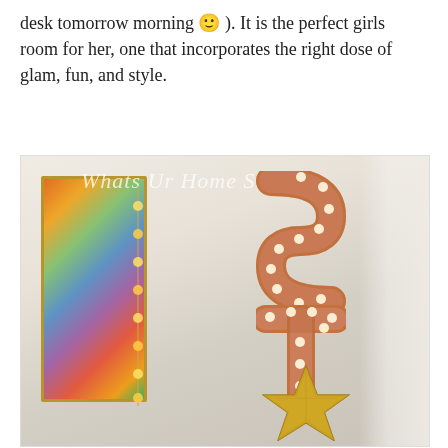desk tomorrow morning 🙂 ). It is the perfect girls room for her, one that incorporates the right dose of glam, fun, and style.
[Figure (photo): Interior photo showing a corner of a girls room with a colorful framed artwork on the left wall, and a copper/rose-gold marquee letter 'S' above a marquee letter 'T' mounted vertically on the wall, both with small round Edison-style bulbs. A large gold metallic star decoration sits below the letters. A sheer white curtain is visible on the right. A watermark reads 'Whats Ur Home Story' in white semi-transparent text.]